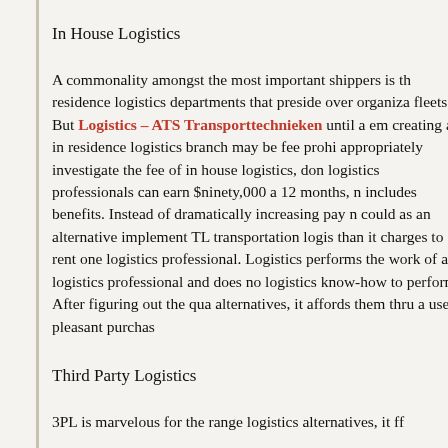In House Logistics
A commonality amongst the most important shippers is th residence logistics departments that preside over organiza fleets. But Logistics – ATS Transporttechnieken until a em creating an in residence logistics branch may be fee prohi appropriately investigate the fee of in house logistics, don logistics professionals can earn $ninety,000 a 12 months, n includes benefits. Instead of dramatically increasing pay n could as an alternative implement TL transportation logis than it charges to rent one logistics professional. Logistics performs the work of a logistics professional and does no logistics know-how to perform. After figuring out the qua alternatives, it affords them thru a user-pleasant purchas
Third Party Logistics
3PL is marvelous for the range logistics alternatives, it ff